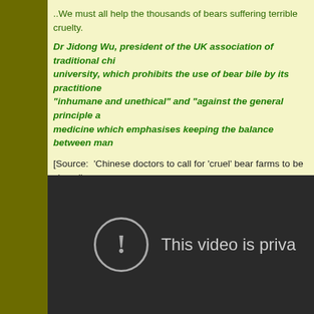..We must all help the thousands of bears suffering terrible cruelty.
Dr Jidong Wu, president of the UK association of traditional chi... university, which prohibits the use of bear bile by its practitioner... "inhumane and unethical" and "against the general principle a...  medicine which emphasises keeping the balance between man...
[Source:  'Chinese doctors to call for 'cruel' bear farms to be closed', Telegraph, Britain, ^  http://www.telegraph.co.uk/news/worldnews/asi... to-call-for-cruel-bear-farms-to-be-closed.html  ]
[Figure (screenshot): Embedded video player showing 'This video is private' error message with exclamation mark in a circle icon on dark background]